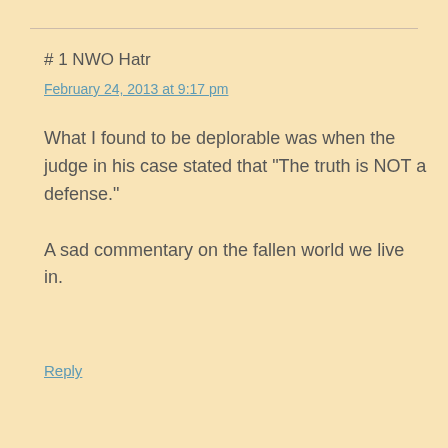# 1 NWO Hatr
February 24, 2013 at 9:17 pm
What I found to be deplorable was when the judge in his case stated that “The truth is NOT a defense.”

A sad commentary on the fallen world we live in.
Reply